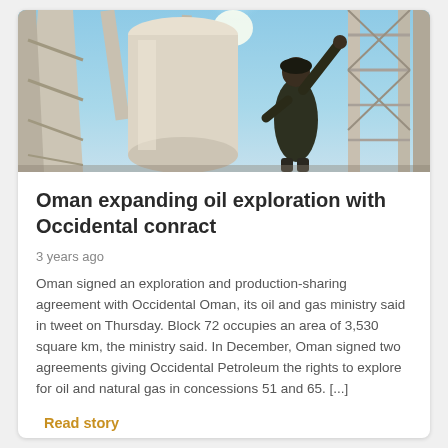[Figure (photo): Worker in dark coveralls reaching upward on an oil rig structure, viewed from below against a bright blue sky with sun glare. White and beige metal rig scaffolding visible.]
Oman expanding oil exploration with Occidental conract
3 years ago
Oman signed an exploration and production-sharing agreement with Occidental Oman, its oil and gas ministry said in tweet on Thursday. Block 72 occupies an area of 3,530 square km, the ministry said. In December, Oman signed two agreements giving Occidental Petroleum the rights to explore for oil and natural gas in concessions 51 and 65. [...]
Read story